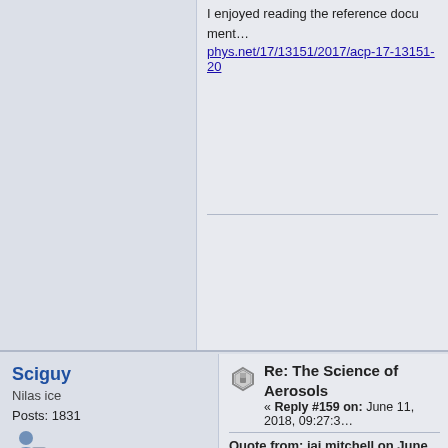I enjoyed reading the reference document from y... phys.net/17/13151/2017/acp-17-13151-20...
Sciguy
Nilas ice
Posts: 1831
Liked: 224
Likes Given: 176
Re: The Science of Aerosols
« Reply #159 on: June 11, 2018, 09:27:3...
Quote from: jai mitchell on June 11, 2018, 07:53...
Ken,

Thanks for those papers, they are very good and... of the overall results, knowing that the disentang... very difficult to disengage and the larger effects o... Humidity) that would result from a complete rem...

I enjoyed reading the reference document from y... phys.net/17/13151/2017/acp-17-13151-2017.pdf...
For those who don't have time to follow th...
Quote